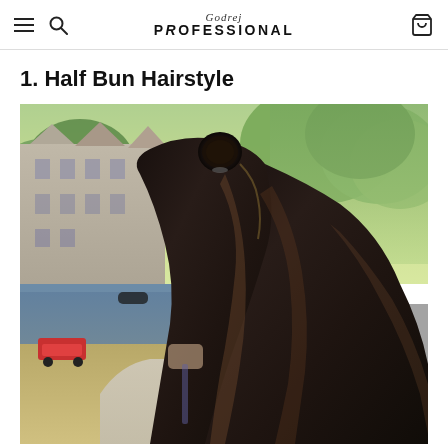Godrej Professional — Navigation header with hamburger menu, search icon, logo, and cart icon
1. Half Bun Hairstyle
[Figure (photo): A woman with long dark hair styled in a half bun hairstyle, photographed from behind in an outdoor urban setting with canal, Dutch-style buildings, trees, and a red car visible in the background.]